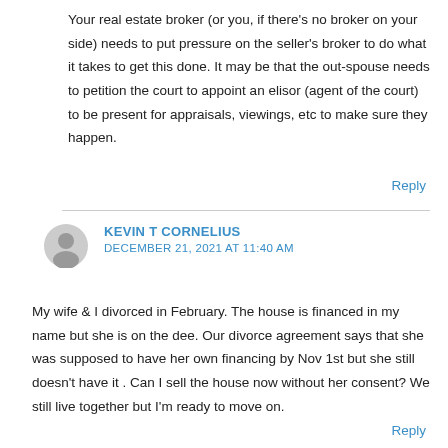Your real estate broker (or you, if there's no broker on your side) needs to put pressure on the seller's broker to do what it takes to get this done. It may be that the out-spouse needs to petition the court to appoint an elisor (agent of the court) to be present for appraisals, viewings, etc to make sure they happen.
Reply
KEVIN T CORNELIUS
DECEMBER 21, 2021 AT 11:40 AM
My wife & I divorced in February. The house is financed in my name but she is on the dee. Our divorce agreement says that she was supposed to have her own financing by Nov 1st but she still doesn't have it . Can I sell the house now without her consent? We still live together but I'm ready to move on.
Reply